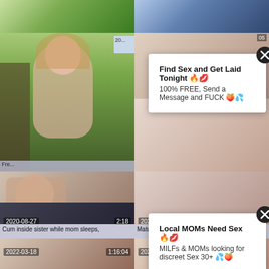[Figure (screenshot): Video thumbnail grid of adult content website with two overlay ad popups. Top row: two video thumbnails partially visible. Middle rows: two thumbnail cells with date 2020-08-27 duration 2:18 title 'Cum inside sister while mom sleeps,' and date 2022-03-04 duration 7:59 title 'Mature Cheating Wife Sara Yumeka'. Bottom row: two thumbnails with date 2022-03-18 duration 1:16:04 and date 2021-11-09 duration 7:58. Two white ad popups overlay the grid: first says 'Find Sex and Get Laid Tonight' / '100% FREE, Send a Message and FUCK' with X close button; second says 'Local MOMs Need Sex' / 'MILFs & MOMs looking for discreet Sex 30+' with X close button.]